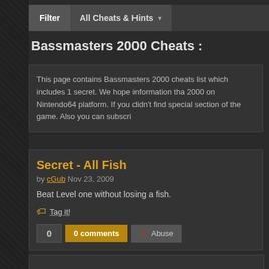Filter   All Cheats & Hints
Bassmasters 2000 Cheats :
This page contains Bassmasters 2000 cheats list which includes 1 secret. We hope information that 2000 on Nintendo64 platform. If you didn't find special section of the game. Also you can subscri
Secret - All Fish
by cGub Nov 23, 2009
Beat Level one without losing a fish.
Tag it!
0   0 comments   Abuse